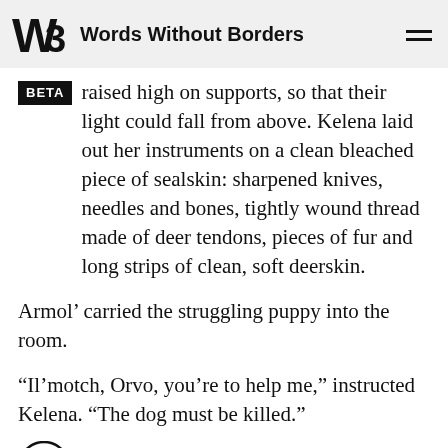Words Without Borders
BETA raised high on supports, so that their light could fall from above. Kelena laid out her instruments on a clean bleached piece of sealskin: sharpened knives, needles and bones, tightly wound thread made of deer tendons, pieces of fur and long strips of clean, soft deerskin.
Armol’ carried the struggling puppy into the room.
“Il’motch, Orvo, you’re to help me,” instructed Kelena. “The dog must be killed.”
otch took the puppy, and Orvo bent down to help the shaman-woman unbind John’s tightly